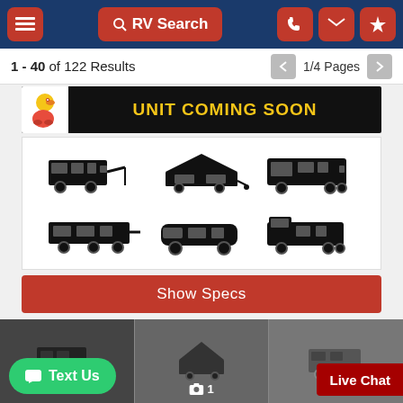RV Search navigation bar with menu, search, phone, email, and location buttons
1 - 40 of 122 Results  1/4 Pages
[Figure (screenshot): UNIT COMING SOON banner with cartoon duck mascot on black background with yellow text]
[Figure (illustration): Grid of 6 RV type silhouette icons: fifth wheel, pop-up camper, Class A motorhome, travel trailer, van camper, Class C motorhome]
Show Specs
[Figure (screenshot): Bottom row of RV listing thumbnails showing dark silhouette images, middle one with camera icon and count of 1]
Text Us
Live Chat